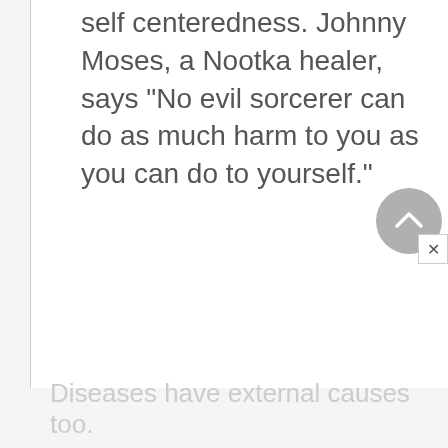self centeredness. Johnny Moses, a Nootka healer, says "No evil sorcerer can do as much harm to you as you can do to yourself."
[Figure (other): Circular scroll-to-top button (chevron up icon) with a close button (x) overlapping at bottom right]
Diseases have external causes too.